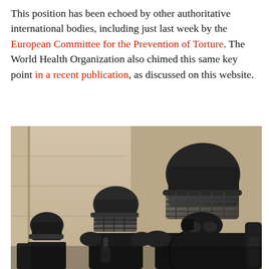This position has been echoed by other authoritative international bodies, including just last week by the European Committee for the Prevention of Torture. The World Health Organization also chimed this same key point in a recent publication, as discussed on this website.
[Figure (photo): Riot police officers in full black tactical gear including helmets with visors and face shields, standing in formation in front of a stone building. One officer in the foreground is raising a finger. The officers are wearing black body armor.]